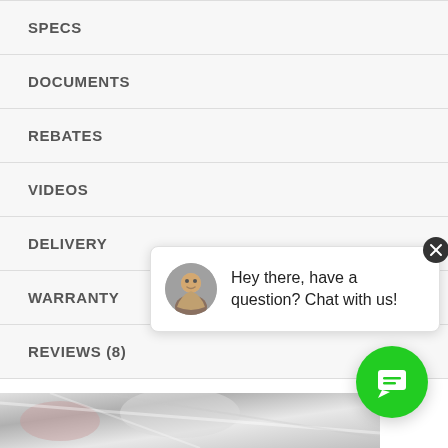SPECS
DOCUMENTS
REBATES
VIDEOS
DELIVERY
WARRANTY
REVIEWS (8)
[Figure (screenshot): Live chat widget popup with avatar photo of a smiling person, text 'Hey there, have a question? Chat with us!', close button (X), and green chat bubble button at bottom right]
[Figure (photo): Partial bottom image strip showing metallic/industrial surface]